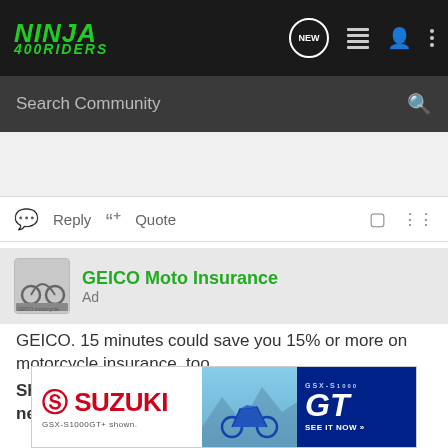NINJA 400RIDERS
Search Community
Reply  Quote
GEICO Moto Insurance
Ad
GEICO. 15 minutes could save you 15% or more on motorcycle insurance, too.
Shopping for a new bike? You could get a shiny, new quote & see how much you could save.
[Figure (photo): Suzuki GSX-S1000GT motorcycle advertisement banner showing a blue motorcycle with text 'GSX-S 1000 GT SEE IT NOW']